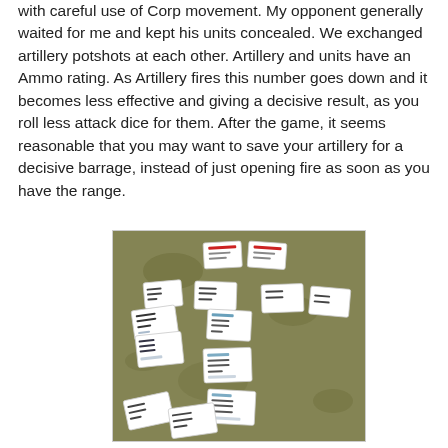with careful use of Corp movement. My opponent generally waited for me and kept his units concealed. We exchanged artillery potshots at each other. Artillery and units have an Ammo rating. As Artillery fires this number goes down and it becomes less effective and giving a decisive result, as you roll less attack dice for them. After the game, it seems reasonable that you may want to save your artillery for a decisive barrage, instead of just opening fire as soon as you have the range.
[Figure (photo): A photo of a tabletop wargame showing multiple unit cards (small white rectangular cards with text and markings) scattered across a green/khaki terrain mat, viewed from above at an angle.]